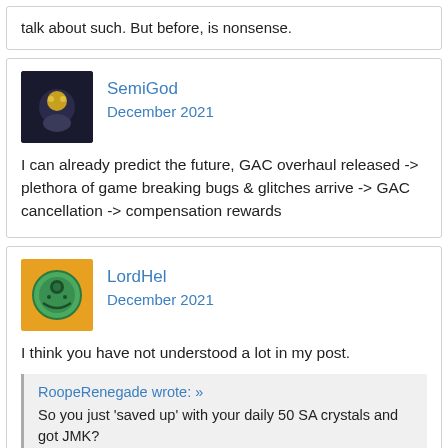talk about such. But before, is nonsense.
SemiGod
December 2021
I can already predict the future, GAC overhaul released -> plethora of game breaking bugs & glitches arrive -> GAC cancellation -> compensation rewards
LordHel
December 2021
I think you have not understood a lot in my post.
RoopeRenegade wrote: »
So you just 'saved up' with your daily 50 SA crystals and got JMK?
Sorry but thats ****. If you got your JMK, then that means you were not f2p, so that nullifies the argument, because whales never had an issue and